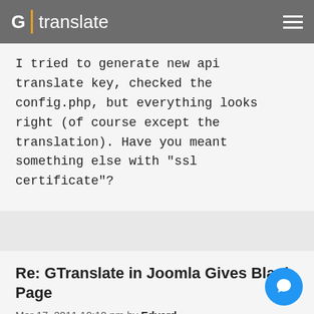G | translate
I tried to generate new api translate key, checked the config.php, but everything looks right (of course except the translation). Have you meant something else with "ssl certificate"?
Re: GTranslate in Joomla Gives Blank Page
Mar 17, 2011 10:10 pm by Edvard
It is related to the cURL library